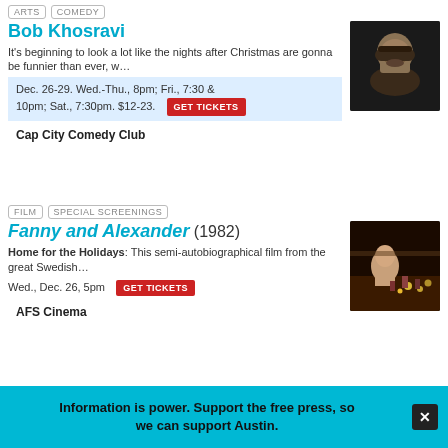ARTS   COMEDY
Bob Khosravi
It's beginning to look a lot like the nights after Christmas are gonna be funnier than ever, w…
Dec. 26-29. Wed.-Thu., 8pm; Fri., 7:30 & 10pm; Sat., 7:30pm. $12-23.   GET TICKETS
Cap City Comedy Club
[Figure (photo): Headshot of Bob Khosravi, a bearded man with dark hair against a dark background]
FILM   SPECIAL SCREENINGS
Fanny and Alexander (1982)
Home for the Holidays: This semi-autobiographical film from the great Swedish…
Wed., Dec. 26, 5pm   GET TICKETS
AFS Cinema
[Figure (photo): Still from Fanny and Alexander showing a child looking at chess pieces with candlelight]
ARTS   VISUAL ARTS
Guru Gallery: Bingo
[Figure (photo): Partial image for Guru Gallery: Bingo article]
Information is power. Support the free press, so we can support Austin.